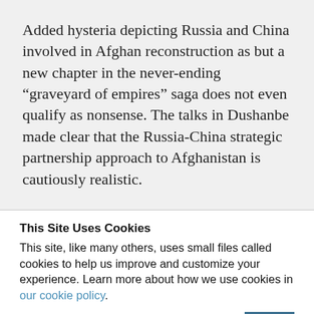Added hysteria depicting Russia and China involved in Afghan reconstruction as but a new chapter in the never-ending “graveyard of empires” saga does not even qualify as nonsense. The talks in Dushanbe made clear that the Russia-China strategic partnership approach to Afghanistan is cautiously realistic.
This Site Uses Cookies
This site, like many others, uses small files called cookies to help us improve and customize your experience. Learn more about how we use cookies in our cookie policy.
Learn more about cookies   OK